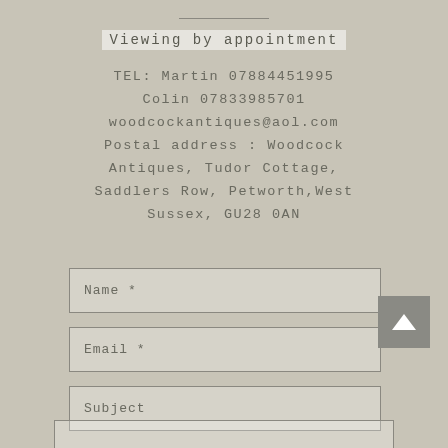Viewing by appointment
TEL: Martin 07884451995
Colin 07833985701
woodcockantiques@aol.com
Postal address : Woodcock Antiques, Tudor Cottage, Saddlers Row, Petworth,West Sussex, GU28 0AN
Name *
Email *
Subject